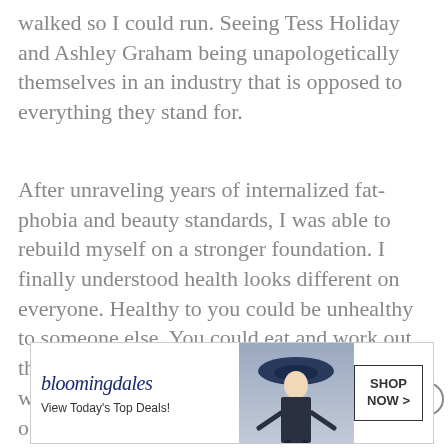walked so I could run. Seeing Tess Holiday and Ashley Graham being unapologetically themselves in an industry that is opposed to everything they stand for.
After unraveling years of internalized fat-phobia and beauty standards, I was able to rebuild myself on a stronger foundation. I finally understood health looks different on everyone. Healthy to you could be unhealthy to someone else. You could eat and work out the exact same as someone and your body would still look different. It's okay to have different priorities to others
[Figure (screenshot): Bloomingdale's advertisement banner with logo, tagline 'View Today's Top Deals!', image of woman in hat, and 'SHOP NOW >' button]